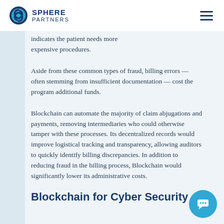SPHERE PARTNERS
indicates the patient needs more expensive procedures.
Aside from these common types of fraud, billing errors — often stemming from insufficient documentation — cost the program additional funds.
Blockchain can automate the majority of claim abjugations and payments, removing intermediaries who could otherwise tamper with these processes. Its decentralized records would improve logistical tracking and transparency, allowing auditors to quickly identify billing discrepancies. In addition to reducing fraud in the billing process, Blockchain would significantly lower its administrative costs.
Blockchain for Cyber Security